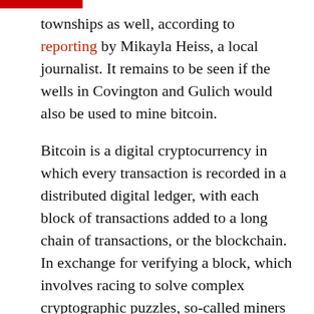townships as well, according to reporting by Mikayla Heiss, a local journalist. It remains to be seen if the wells in Covington and Gulich would also be used to mine bitcoin.
Bitcoin is a digital cryptocurrency in which every transaction is recorded in a distributed digital ledger, with each block of transactions added to a long chain of transactions, or the blockchain. In exchange for verifying a block, which involves racing to solve complex cryptographic puzzles, so-called miners are rewarded with cryptocurrency.
Cryptocurrencies' value to society is hotly contested. Proponents say they give owners privacy and freedom from control of governments and banks, and the opportunity to reap big profits as the value